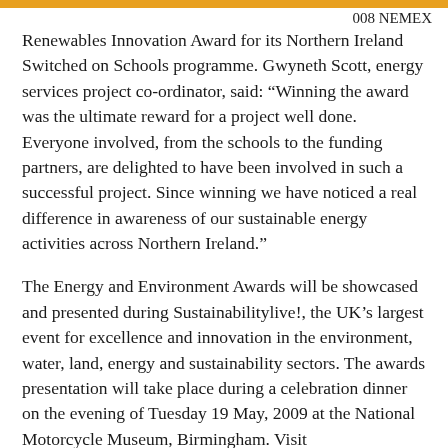008 NEMEX
Renewables Innovation Award for its Northern Ireland Switched on Schools programme. Gwyneth Scott, energy services project co-ordinator, said: “Winning the award was the ultimate reward for a project well done. Everyone involved, from the schools to the funding partners, are delighted to have been involved in such a successful project. Since winning we have noticed a real difference in awareness of our sustainable energy activities across Northern Ireland.”
The Energy and Environment Awards will be showcased and presented during Sustainabilitylive!, the UK’s largest event for excellence and innovation in the environment, water, land, energy and sustainability sectors. The awards presentation will take place during a celebration dinner on the evening of Tuesday 19 May, 2009 at the National Motorcycle Museum, Birmingham. Visit…